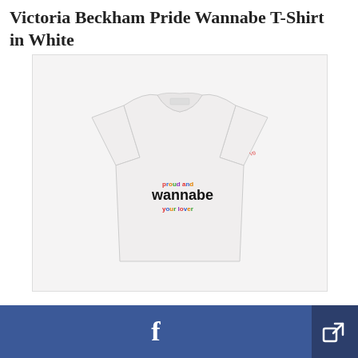Victoria Beckham Pride Wannabe T-Shirt in White
[Figure (photo): White T-shirt with colorful 'proud and wannabe your lover' text graphic printed on the chest, displayed on a light gray background.]
[Figure (other): Facebook share button (blue) and general share button (dark blue) at the bottom of the page.]